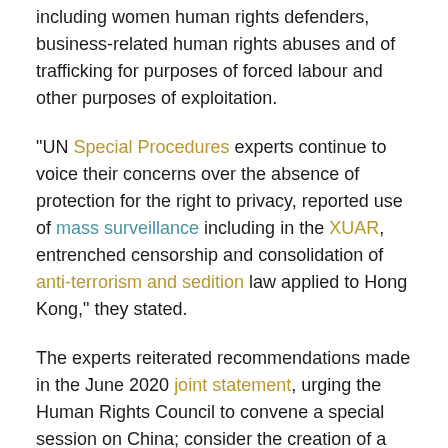including women human rights defenders, business-related human rights abuses and of trafficking for purposes of forced labour and other purposes of exploitation.
“UN Special Procedures experts continue to voice their concerns over the absence of protection for the right to privacy, reported use of mass surveillance including in the XUAR, entrenched censorship and consolidation of anti-terrorism and sedition law applied to Hong Kong,” they stated.
The experts reiterated recommendations made in the June 2020 joint statement, urging the Human Rights Council to convene a special session on China; consider the creation of a Special Procedures mandate; and appoint a UN Special Envoy or or a panel of experts to closely monitor, analyse and report annually on the human rights situation in China.